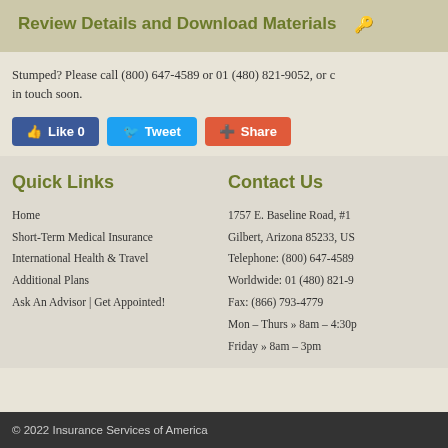Review Details and Download Materials 🔑
Stumped? Please call (800) 647-4589 or 01 (480) 821-9052, or c… in touch soon.
[Figure (screenshot): Social media buttons: Like 0, Tweet, Share]
Quick Links
Home
Short-Term Medical Insurance
International Health & Travel
Additional Plans
Ask An Advisor | Get Appointed!
Contact Us
1757 E. Baseline Road, #1
Gilbert, Arizona 85233, US
Telephone: (800) 647-4589
Worldwide: 01 (480) 821-9…
Fax: (866) 793-4779
Mon – Thurs » 8am – 4:30p
Friday » 8am – 3pm
© 2022 Insurance Services of America